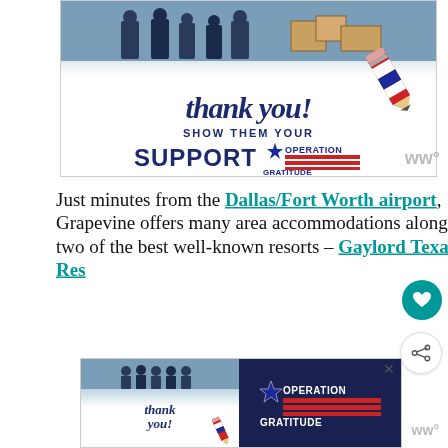[Figure (photo): Operation Gratitude advertisement showing firefighters and 'Thank you! Show them your support' message with pencil graphic]
Just minutes from the Dallas/Fort Worth airport, Grapevine offers many area accommodations along with two of the best well-known resorts – Gaylord Texan Res[ort]... [and the] Great Wolf Lodge... Both
[Figure (photo): Operation Gratitude bottom banner advertisement with thank you message and firefighters photo]